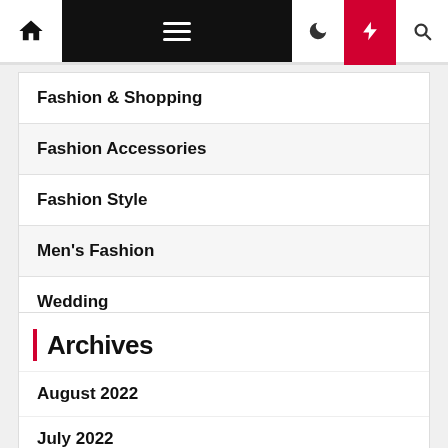Navigation bar with home, menu, dark mode, lightning, and search icons
Fashion & Shopping
Fashion Accessories
Fashion Style
Men's Fashion
Wedding
Archives
August 2022
July 2022